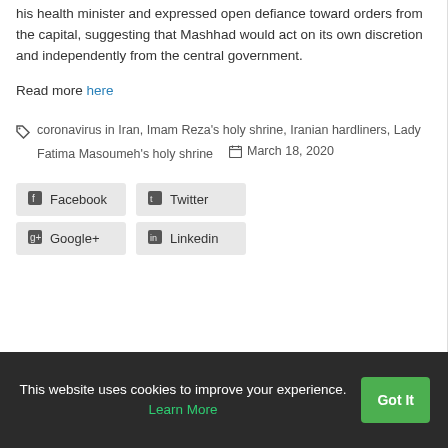his health minister and expressed open defiance toward orders from the capital, suggesting that Mashhad would act on its own discretion and independently from the central government.
Read more here
coronavirus in Iran, Imam Reza's holy shrine, Iranian hardliners, Lady Fatima Masoumeh's holy shrine    March 18, 2020
Facebook  Twitter  Google+  Linkedin
This website uses cookies to improve your experience. Learn More  Got It